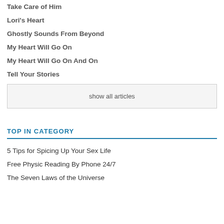Take Care of Him
Lori's Heart
Ghostly Sounds From Beyond
My Heart Will Go On
My Heart Will Go On And On
Tell Your Stories
show all articles
TOP IN CATEGORY
5 Tips for Spicing Up Your Sex Life
Free Physic Reading By Phone 24/7
The Seven Laws of the Universe